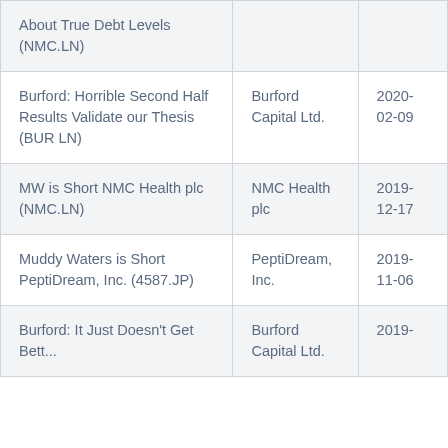| Report Title | Company | Date |
| --- | --- | --- |
| About True Debt Levels (NMC.LN) |  |  |
| Burford: Horrible Second Half Results Validate our Thesis (BUR LN) | Burford Capital Ltd. | 2020-02-09 |
| MW is Short NMC Health plc (NMC.LN) | NMC Health plc | 2019-12-17 |
| Muddy Waters is Short PeptiDream, Inc. (4587.JP) | PeptiDream, Inc. | 2019-11-06 |
| Burford: It Just Doesn't Get Better | Burford Capital Ltd. | 2019-09-09 |